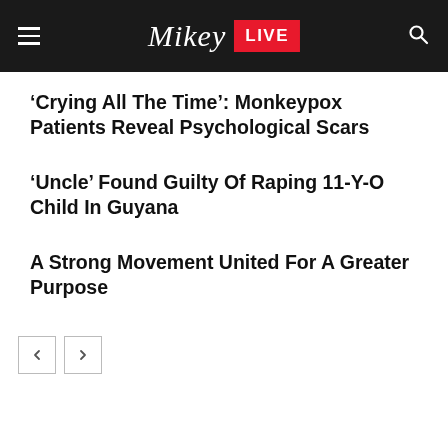Mikey LIVE
‘Crying All The Time’: Monkeypox Patients Reveal Psychological Scars
‘Uncle’ Found Guilty Of Raping 11-Y-O Child In Guyana
A Strong Movement United For A Greater Purpose